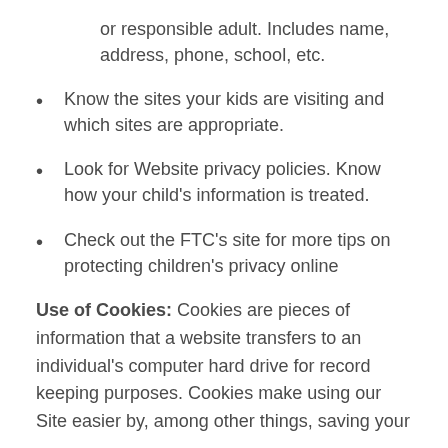or responsible adult. Includes name, address, phone, school, etc.
Know the sites your kids are visiting and which sites are appropriate.
Look for Website privacy policies. Know how your child's information is treated.
Check out the FTC's site for more tips on protecting children's privacy online
Use of Cookies: Cookies are pieces of information that a website transfers to an individual's computer hard drive for record keeping purposes. Cookies make using our Site easier by, among other things, saving your